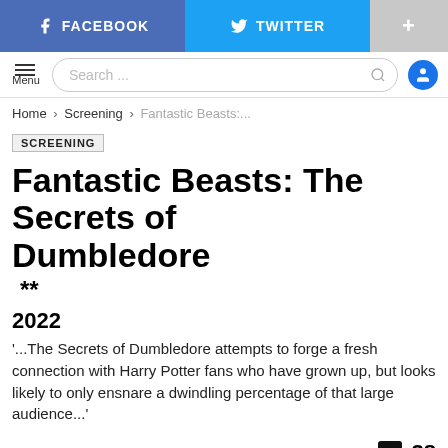[Figure (screenshot): Social sharing bar with Facebook, Twitter, and plus buttons]
[Figure (screenshot): Navigation bar with hamburger menu, search box, and user icon]
Home › Screening › Fantastic Beasts:...
SCREENING
Fantastic Beasts: The Secrets of Dumbledore **
2022
'...The Secrets of Dumbledore attempts to forge a fresh connection with Harry Potter fans who have grown up, but looks likely to only ensnare a dwindling percentage of that large audience...'
38